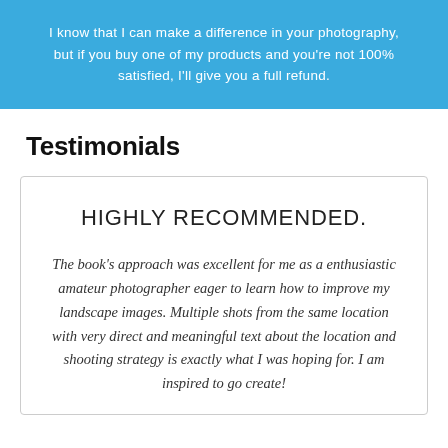I know that I can make a difference in your photography, but if you buy one of my products and you're not 100% satisfied, I'll give you a full refund.
Testimonials
HIGHLY RECOMMENDED.
The book's approach was excellent for me as a enthusiastic amateur photographer eager to learn how to improve my landscape images. Multiple shots from the same location with very direct and meaningful text about the location and shooting strategy is exactly what I was hoping for. I am inspired to go create!